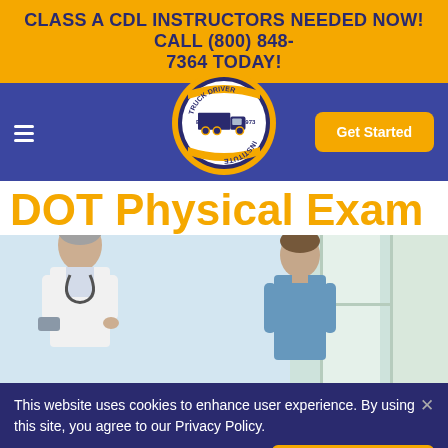CLASS A CDL INSTRUCTORS NEEDED NOW! CALL (800) 848-7364 TODAY!
[Figure (logo): Truck Driver Institute circular logo with truck illustration, EST. 1973]
[Figure (photo): A doctor in a white coat with stethoscope conducting a physical exam with a male patient in a blue shirt, clinical setting with large windows]
DOT Physical Exam
This website uses cookies to enhance user experience. By using this site, you agree to our Privacy Policy.
View complete details here.
Accept & Close